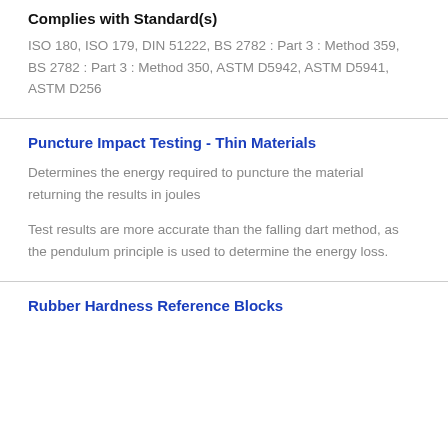Complies with Standard(s)
ISO 180, ISO 179, DIN 51222, BS 2782 : Part 3 : Method 359, BS 2782 : Part 3 : Method 350, ASTM D5942, ASTM D5941, ASTM D256
Puncture Impact Testing - Thin Materials
Determines the energy required to puncture the material returning the results in joules
Test results are more accurate than the falling dart method, as the pendulum principle is used to determine the energy loss.
Rubber Hardness Reference Blocks